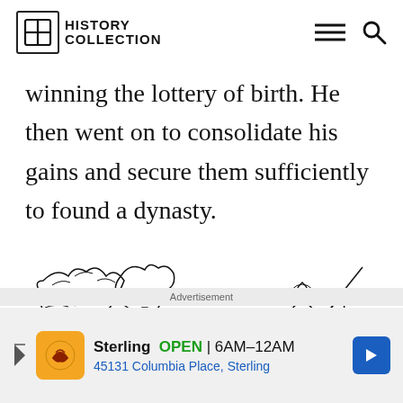HISTORY COLLECTION
winning the lottery of birth. He then went on to consolidate his gains and secure them sufficiently to found a dynasty.
[Figure (illustration): Ancient relief-style illustration showing a procession of figures in traditional garb, with a tall decorated figure holding a staff and smaller figures around trees]
Advertisement
Sterling OPEN 6AM–12AM 45131 Columbia Place, Sterling